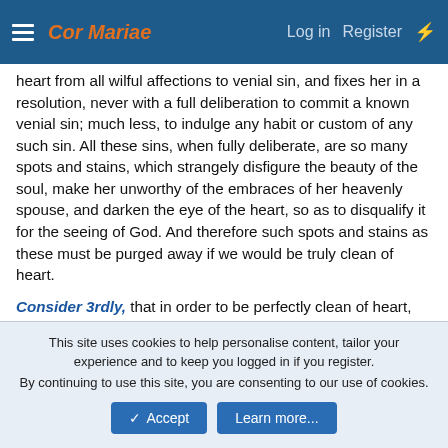Cor Mariae  Log in  Register
heart from all wilful affections to venial sin, and fixes her in a resolution, never with a full deliberation to commit a known venial sin; much less, to indulge any habit or custom of any such sin. All these sins, when fully deliberate, are so many spots and stains, which strangely disfigure the beauty of the soul, make her unworthy of the embraces of her heavenly spouse, and darken the eye of the heart, so as to disqualify it for the seeing of God. And therefore such spots and stains as these must be purged away if we would be truly clean of heart.
Consider 3rdly, that in order to be perfectly clean of heart, the heart must also be purged from all affection to worldly honours, riches, and pleasures; from all disorderly love of the creature, to the prejudice of the love of the creator; and from every affection
This site uses cookies to help personalise content, tailor your experience and to keep you logged in if you register.
By continuing to use this site, you are consenting to our use of cookies.